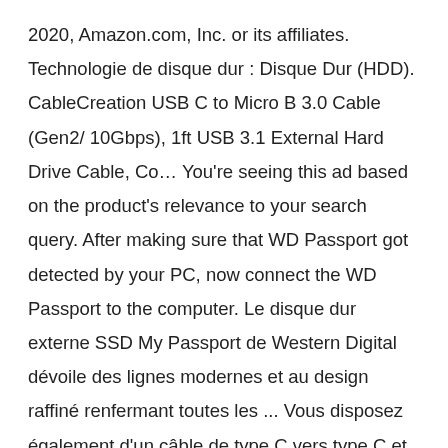2020, Amazon.com, Inc. or its affiliates. Technologie de disque dur : Disque Dur (HDD). CableCreation USB C to Micro B 3.0 Cable (Gen2/ 10Gbps), 1ft USB 3.1 External Hard Drive Cable, Co… You're seeing this ad based on the product's relevance to your search query. After making sure that WD Passport got detected by your PC, now connect the WD Passport to the computer. Le disque dur externe SSD My Passport de Western Digital dévoile des lignes modernes et au design raffiné renfermant toutes les ... Vous disposez également d'un câble de type C vers type C et d'un adaptateur USB de type C vers type A inclus. $3.75. Type de disque dur : Disque Dur Externe. Response must be less that 100,000 characters, Fast, FREE delivery, video streaming, music, and much more. Technologie de disque dur : Disque Dur (HDD). We would like to show you a description here but the site